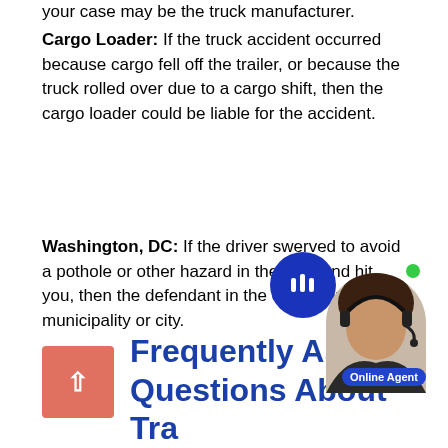your case may be the truck manufacturer.
Cargo Loader: If the truck accident occurred because cargo fell off the trailer, or because the truck rolled over due to a cargo shift, then the cargo loader could be liable for the accident.
Washington, DC: If the driver swerved to avoid a pothole or other hazard in the road and hit you, then the defendant in the case may be the municipality or city.
Frequently Asked Questions About Tra...